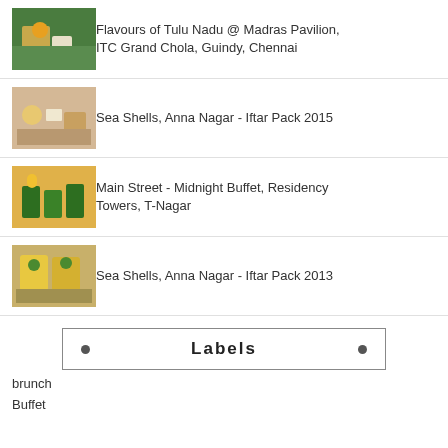Flavours of Tulu Nadu @ Madras Pavilion, ITC Grand Chola, Guindy, Chennai
Sea Shells, Anna Nagar - Iftar Pack 2015
Main Street - Midnight Buffet, Residency Towers, T-Nagar
Sea Shells, Anna Nagar - Iftar Pack 2013
Labels
brunch
Buffet